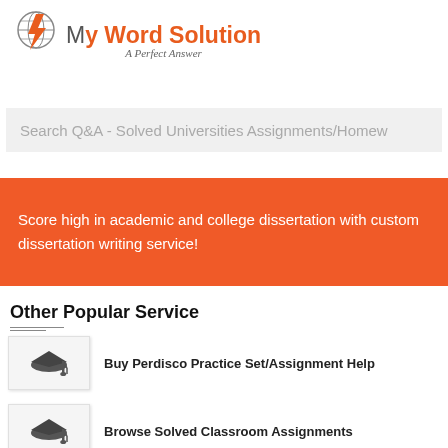[Figure (logo): MyWord Solution logo with lightning bolt icon, orange and grey text, tagline 'A Perfect Answer']
Search Q&A - Solved Universities Assignments/Homew
Score high in academic and college dissertation with custom dissertation writing service!
Other Popular Service
Buy Perdisco Practice Set/Assignment Help
Browse Solved Classroom Assignments